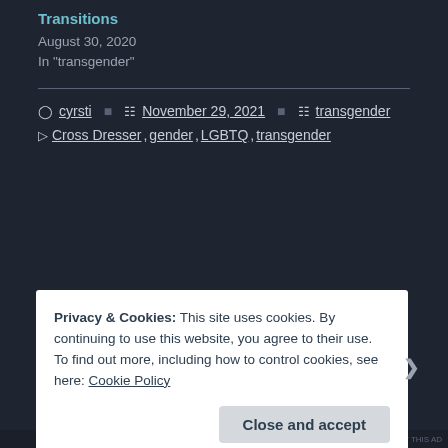Transitions
August 30, 2020
In "transgender"
cyrsti   November 29, 2021   transgender
Cross Dresser, gender, LGBTQ, transgender
Privacy & Cookies: This site uses cookies. By continuing to use this website, you agree to their use.
To find out more, including how to control cookies, see here: Cookie Policy
Close and accept